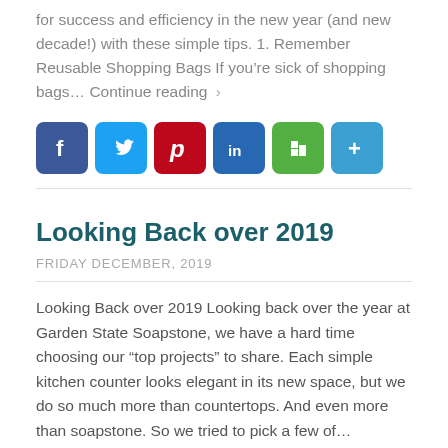for success and efficiency in the new year (and new decade!) with these simple tips. 1. Remember Reusable Shopping Bags If you’re sick of shopping bags… Continue reading ›
[Figure (infographic): Social media sharing bar with icons: Facebook (blue), Twitter (light blue), Pinterest (dark red), LinkedIn (dark blue), Houzz (green), More/plus (blue)]
Looking Back over 2019
FRIDAY DECEMBER, 2019
Looking Back over 2019 Looking back over the year at Garden State Soapstone, we have a hard time choosing our “top projects” to share. Each simple kitchen counter looks elegant in its new space, but we do so much more than countertops. And even more than soapstone. So we tried to pick a few of…